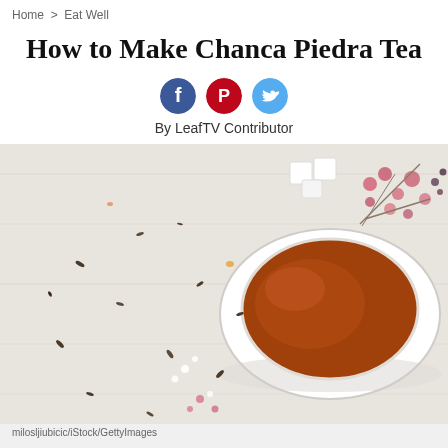Home > Eat Well
How to Make Chanca Piedra Tea
[Figure (infographic): Three social media share icons: Facebook (blue circle with f), Pinterest (red circle with P), Twitter (light blue circle with bird)]
By LeafTV Contributor
[Figure (photo): Overhead view of a white cup of reddish-brown tea on a white wooden surface, surrounded by scattered dried tea leaves, pink and white small flowers, and sugar cubes in the background.]
milosljiubicic/iStock/GettyImages